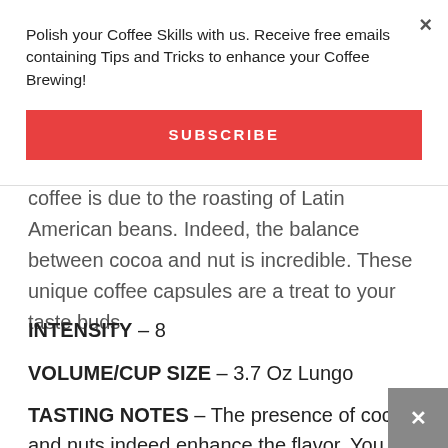Polish your Coffee Skills with us. Receive free emails containing Tips and Tricks to enhance your Coffee Brewing!
SUBSCRIBE
coffee is due to the roasting of Latin American beans. Indeed, the balance between cocoa and nut is incredible. These unique coffee capsules are a treat to your taste buds.
INTENSITY – 8
VOLUME/CUP SIZE – 3.7 Oz Lungo
TASTING NOTES – The presence of cocoa and nuts indeed enhance the flavor. You will receive a